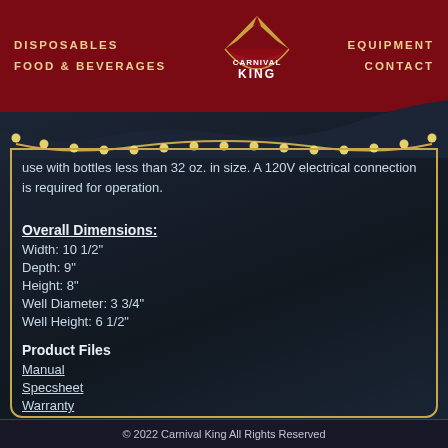DISPOSABLES  FOOD & BEVERAGES  [Carnival King Logo]  EQUIPMENT  CONTACT
use with bottles less than 32 oz. in size. A 120V electrical connection is required for operation.
Overall Dimensions:
Width: 10 1/2"
Depth: 9"
Height: 8"
Well Diameter: 3 3/4"
Well Height: 6 1/2"
Product Files
Manual
Specsheet
Warranty
Item #:382SBW2
© 2022 Carnival King All Rights Reserved